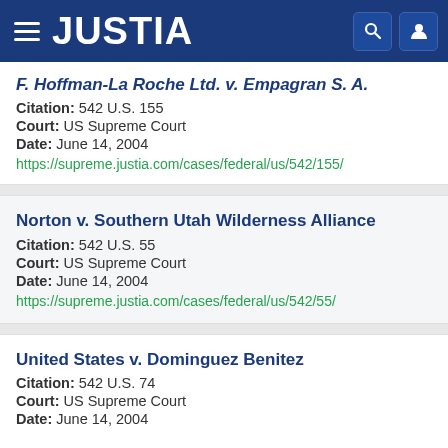JUSTIA
F. Hoffman-La Roche Ltd. v. Empagran S. A.
Citation: 542 U.S. 155
Court: US Supreme Court
Date: June 14, 2004
https://supreme.justia.com/cases/federal/us/542/155/
Norton v. Southern Utah Wilderness Alliance
Citation: 542 U.S. 55
Court: US Supreme Court
Date: June 14, 2004
https://supreme.justia.com/cases/federal/us/542/55/
United States v. Dominguez Benitez
Citation: 542 U.S. 74
Court: US Supreme Court
Date: June 14, 2004